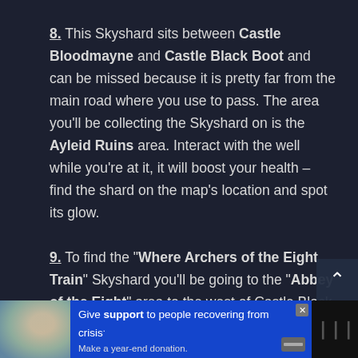8. This Skyshard sits between Castle Bloodmayne and Castle Black Boot and can be missed because it is pretty far from the main road where you use to pass. The area you'll be collecting the Skyshard on is the Ayleid Ruins area. Interact with the well while you're at it, it will boost your health – find the shard on the map's location and spot its glow.
9. To find the "Where Archers of the Eight Train" Skyshard you'll be going to the "Abbey of the Eight" area to the west of Castle Black Boot. Find the platform that is next to a stone wall. The riddle talks about the archers because
[Figure (infographic): Advertisement banner at bottom: image of two people on left, blue donation appeal in center reading 'Give support to people recovering from crisis. Make a year-end donation.' with close button and credit card icon, Tidal logo on right.]